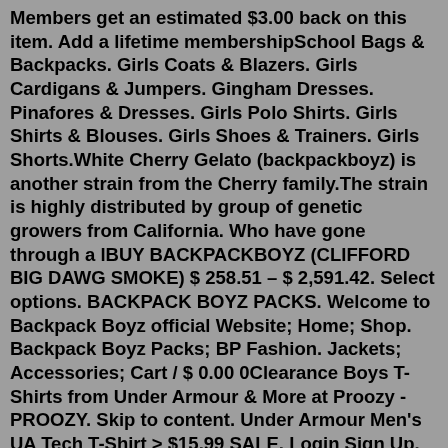Members get an estimated $3.00 back on this item. Add a lifetime membershipSchool Bags & Backpacks. Girls Coats & Blazers. Girls Cardigans & Jumpers. Gingham Dresses. Pinafores & Dresses. Girls Polo Shirts. Girls Shirts & Blouses. Girls Shoes & Trainers. Girls Shorts.White Cherry Gelato (backpackboyz) is another strain from the Cherry family.The strain is highly distributed by group of genetic growers from California. Who have gone through a lBUY BACKPACKBOYZ (CLIFFORD BIG DAWG SMOKE) $ 258.51 – $ 2,591.42. Select options. BACKPACK BOYZ PACKS. Welcome to Backpack Boyz official Website; Home; Shop. Backpack Boyz Packs; BP Fashion. Jackets; Accessories; Cart / $ 0.00 0Clearance Boys T-Shirts from Under Armour & More at Proozy - PROOZY. Skip to content. Under Armour Men's UA Tech T-Shirt > $15.99 SALE. Login Sign Up. PICK OF THE DAY | Under Armour Women's 1/2 Zip Pullover > $16.99 SALE | Code: PZR1WZP 8h 33m 11s.The collection for boys makes sure to tick the trend box